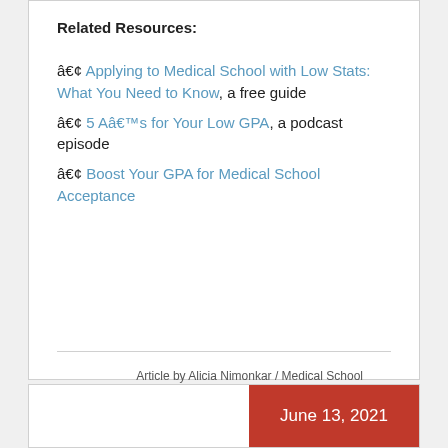Related Resources:
• Applying to Medical School with Low Stats: What You Need to Know, a free guide
• 5 Aâ€™s for Your Low GPA, a podcast episode
• Boost Your GPA for Medical School Acceptance
Article by Alicia Nimonkar / Medical School Admissions / AACOMAS, AMCAS, med low stats, optimize your med admissions profile, premed
June 13, 2021